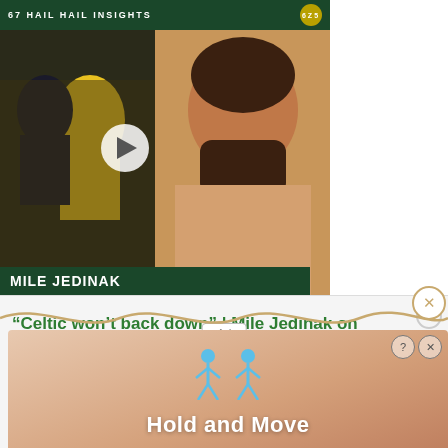[Figure (screenshot): Video thumbnail card showing Mile Jedinak with green header banner reading '67 HAIL HAIL INSIGHTS', a play button overlay on a sports photo, and a portrait of Mile Jedinak on the right side with green name bar at bottom reading 'MILE JEDINAK']
“Celtic won’t back down” | Mile Jedinak on Postecoglou, derby demolition & Champions League dreams
Ad
[Figure (screenshot): Bottom advertisement banner showing 'Hold and Move' game with blue stick figures and a peach/tan gradient background. Has close (X) and info (?) buttons in top right.]